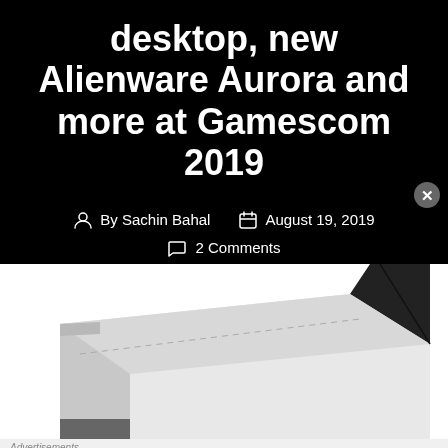desktop, new Alienware Aurora and more at Gamescom 2019
By Sachin Bahal   August 19, 2019   2 Comments
[Figure (photo): Alienware gaming desktop device shown at an angle, white and black chassis]
Advertisements
[Figure (screenshot): DuckDuckGo advertisement banner: Search, browse, and email with more privacy. All in One Free App. DuckDuckGo logo on right.]